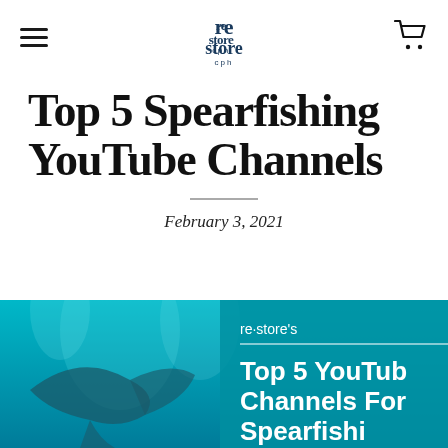re·store cph — navigation header with hamburger menu and cart icon
Top 5 Spearfishing YouTube Channels
February 3, 2021
[Figure (photo): Underwater photo showing a manta ray swimming in turquoise blue water with overlaid text reading 're-store's Top 5 YouTube Channels For Spearfishing' in white bold font on a teal background]